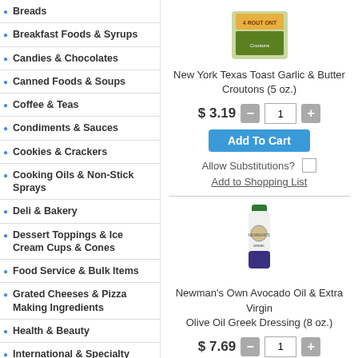Breads
Breakfast Foods & Syrups
Candies & Chocolates
Canned Foods & Soups
Coffee & Teas
Condiments & Sauces
Cookies & Crackers
Cooking Oils & Non-Stick Sprays
Deli & Bakery
Dessert Toppings & Ice Cream Cups & Cones
Food Service & Bulk Items
Grated Cheeses & Pizza Making Ingredients
Health & Beauty
International & Specialty Foods
Laundry & Household Items
[Figure (photo): Product image of New York Texas Toast Garlic & Butter Croutons box]
New York Texas Toast Garlic & Butter Croutons (5 oz.)
$ 3.19
Add To Cart
Allow Substitutions?
Add to Shopping List
[Figure (photo): Product image of Newman's Own Avocado Oil & Extra Virgin Olive Oil Greek Dressing bottle]
Newman's Own Avocado Oil & Extra Virgin Olive Oil Greek Dressing (8 oz.)
$ 7.69